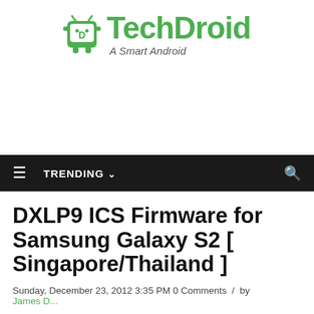[Figure (logo): TechDroid logo with Android robot icon in green, text 'TechDroid' in green bold font, tagline 'A Smart Android' in italic gray]
≡  TRENDING ∨
DXLP9 ICS Firmware for Samsung Galaxy S2 [ Singapore/Thailand ]
Sunday, December 23, 2012 3:35 PM 0 Comments / by